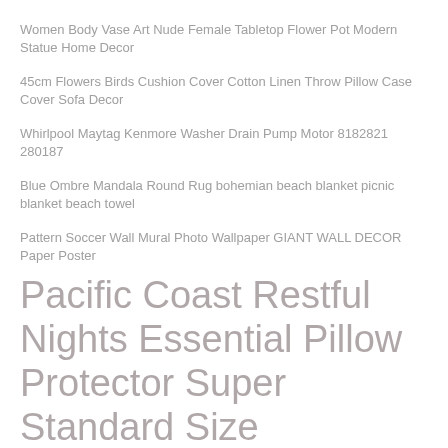Women Body Vase Art Nude Female Tabletop Flower Pot Modern Statue Home Decor
45cm Flowers Birds Cushion Cover Cotton Linen Throw Pillow Case Cover Sofa Decor
Whirlpool Maytag Kenmore Washer Drain Pump Motor 8182821 280187
Blue Ombre Mandala Round Rug bohemian beach blanket picnic blanket beach towel
Pattern Soccer Wall Mural Photo Wallpaper GIANT WALL DECOR Paper Poster
Pacific Coast Restful Nights Essential Pillow Protector Super Standard Size
1000PCS Wholesale Bulk Crystal Glass Rondelle Beads
Jewelry Loose Spacer 4mm. 1Pair Ear Loops Fit Snap Button